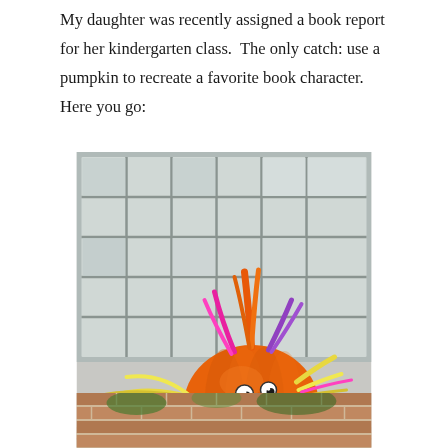My daughter was recently assigned a book report for her kindergarten class.  The only catch: use a pumpkin to recreate a favorite book character. Here you go:
[Figure (photo): A pumpkin decorated to look like a bird book character, with colorful feathers (yellow, orange, pink, purple) stuck in it, googly eyes, and a dark beak, sitting on a stone ledge outside a brick building with large grid windows.]
[Figure (photo): Partial view of another photo at the bottom of the page, showing a brick building exterior.]